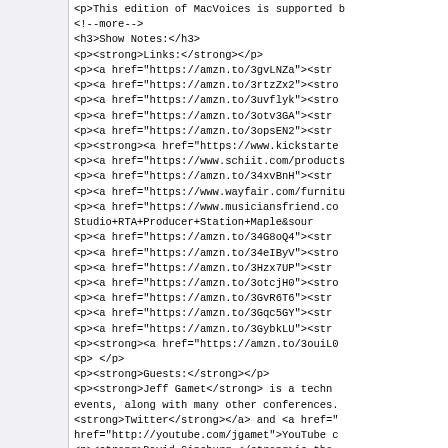<p>This edition of MacVoices is supported b... <!--more--> <h3>Show Notes:</h3> <p><strong>Links:</strong></p> <p><a href="https://amzn.to/3gvLNZa"><str... <p><a href="https://amzn.to/3rtzZx2"><stro... <p><a href="https://amzn.to/3uvflyk"><stro... <p><a href="https://amzn.to/3otv3GA"><str... <p><a href="https://amzn.to/3opsEN2"><str... <p><strong><a href="https://www.kickstarte... <p><a href="https://www.schiit.com/products... <p><a href="https://amzn.to/34xvBnH"><str... <p><a href="https://www.wayfair.com/furnitu... <p><a href="https://www.musiciansfriend.co... Studio+RTA+Producer+Station+Maple&sour... <p><a href="https://amzn.to/34G8oQ4"><str... <p><a href="https://amzn.to/34eIByV"><stro... <p><a href="https://amzn.to/3Hzx7UP"><str... <p><a href="https://amzn.to/3otcjH0"><stron... <p><a href="https://amzn.to/3GvR6T6"><str... <p><a href="https://amzn.to/3Gqc5GY"><str... <p><a href="https://amzn.to/3GybkLU"><str... <p><strong><a href="https://amzn.to/3ouiL0... <p> </p> <p><strong>Guests:</strong></p> <p><strong>Jeff Gamet</strong> is a techn... events, along with many other conferences. <strong>Twitter</strong></a> and <a href="... href="http://youtube.com/jgamet">YouTube c... <p><strong>David Ginsburg </strong>is the... supporting Mac, iOS and Windows users. Vi... <p><strong>Kelly Guimont</strong> is a po... href="http://macobserver.com">MacObserve... href="https://podcasts.apple.com/us/podcas... <p><strong>Jim Rea</strong> has been an... href="http://provue.com/"><strong>provue.c... <p><strong>Guy Serle,</strong> best know... equipment. He should know better but bei...